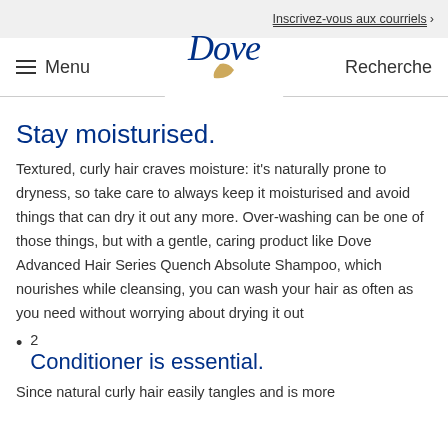Inscrivez-vous aux courriels ›
≡ Menu   Dove   Recherche
Stay moisturised.
Textured, curly hair craves moisture: it's naturally prone to dryness, so take care to always keep it moisturised and avoid things that can dry it out any more. Over-washing can be one of those things, but with a gentle, caring product like Dove Advanced Hair Series Quench Absolute Shampoo, which nourishes while cleansing, you can wash your hair as often as you need without worrying about drying it out
2
Conditioner is essential.
Since natural curly hair easily tangles and is more